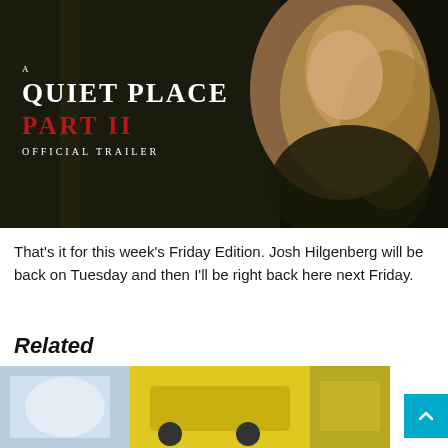[Figure (photo): Movie promotional image for 'A Quiet Place Part II - Official Trailer'. Dark background with a woman on the right side. White serif text on left reads 'A QUIET PLACE' and below in red 'PART II', then smaller white text 'OFFICIAL TRAILER'.]
That's it for this week's Friday Edition. Josh Hilgenberg will be back on Tuesday and then I'll be right back here next Friday.
Related
[Figure (photo): Partially visible comic-book style illustration at the bottom of the page, showing colorful cartoon/comic art in blue, white, and yellow tones.]